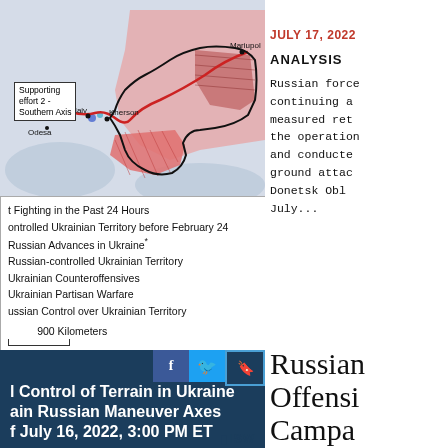[Figure (map): Map of southern Ukraine showing Russian-controlled territory, advances, and Ukrainian counteroffensives near Odesa, Mykolaiv, Kherson, and Mariupol. Pink/red shading shows Russian-controlled areas including Crimea. Red outline shows front lines.]
t Fighting in the Past 24 Hours
ontrolled Ukrainian Territory before February 24
Russian Advances in Ukraine*
Russian-controlled Ukrainian Territory
Ukrainian Counteroffensives
Ukrainian Partisan Warfare
ussian Control over Ukrainian Territory
900 Kilometers
a Stepanenko, Noel Mikkelsen, and Daniel Mealie
of War and AEI's Critical Threats Project
areas where ISW assesses Russian forces have operated in or launched attacks
Control of Terrain in Ukraine
ain Russian Maneuver Axes
July 16, 2022, 3:00 PM ET
JULY 17, 2022
ANALYSIS
Russian force continuing a measured ret the operation and conducte ground attac Donetsk Obl July...
Russian Offensi Campa